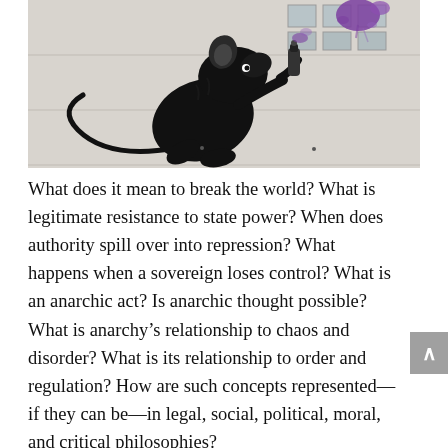[Figure (illustration): Black and white street art image of a rat holding a spray can, with purple paint splatter on the wall behind it. Style resembling Banksy graffiti art. Wall background is light gray/white.]
What does it mean to break the world? What is legitimate resistance to state power? When does authority spill over into repression? What happens when a sovereign loses control? What is an anarchic act? Is anarchic thought possible? What is anarchy's relationship to chaos and disorder? What is its relationship to order and regulation? How are such concepts represented—if they can be—in legal, social, political, moral, and critical philosophies?